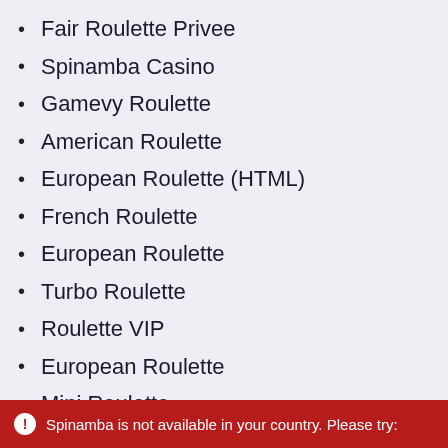Fair Roulette Privee
Spinamba Casino
Gamevy Roulette
American Roulette
European Roulette (HTML)
French Roulette
European Roulette
Turbo Roulette
Roulette VIP
European Roulette
Mini Roulette
European Roulette - Dark mode
Spinamba is not available in your country. Please try: